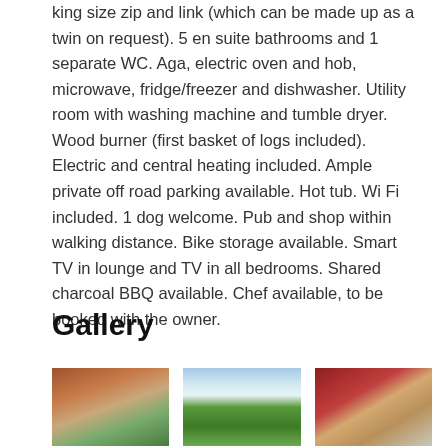king size zip and link (which can be made up as a twin on request). 5 en suite bathrooms and 1 separate WC. Aga, electric oven and hob, microwave, fridge/freezer and dishwasher. Utility room with washing machine and tumble dryer. Wood burner (first basket of logs included). Electric and central heating included. Ample private off road parking available. Hot tub. Wi Fi included. 1 dog welcome. Pub and shop within walking distance. Bike storage available. Smart TV in lounge and TV in all bedrooms. Shared charcoal BBQ available. Chef available, to be booked with the owner.
Gallery
[Figure (photo): Exterior of a brick farmhouse with garden wall and green lawn, blue sky with white clouds.]
[Figure (photo): Wide green lawn with a bench, trees in background, overcast sky.]
[Figure (photo): Red double door entrance with decorative wooden framing and sidelights, interior visible.]